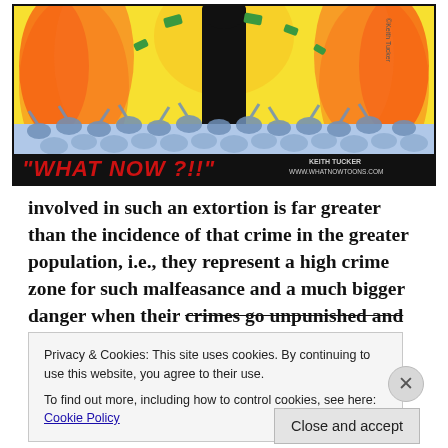[Figure (illustration): Political cartoon showing a crowd of people with hands raised under a dark silhouette figure surrounded by orange and yellow flames, with money flying. Bottom banner reads "WHAT NOW ?!!" with credit to Keith Tucker and www.whatnowtoons.com]
involved in such an extortion is far greater than the incidence of that crime in the greater population, i.e., they represent a high crime zone for such malfeasance and a much bigger danger when their crimes go unpunished and can continue unfettered
Privacy & Cookies: This site uses cookies. By continuing to use this website, you agree to their use.
To find out more, including how to control cookies, see here: Cookie Policy
Close and accept